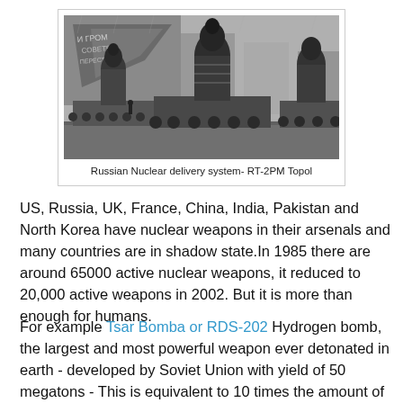[Figure (photo): Black and white photograph of Russian nuclear delivery systems (RT-2PM Topol missiles) on military vehicles during a parade, with a propaganda billboard in the background.]
Russian Nuclear delivery system- RT-2PM Topol
US, Russia, UK, France, China, India, Pakistan and North Korea have nuclear weapons in their arsenals and many countries are in shadow state.In 1985 there are around 65000 active nuclear weapons, it reduced to 20,000 active weapons in 2002. But it is more than enough for humans.
For example Tsar Bomba or RDS-202 Hydrogen bomb, the largest and most powerful weapon ever detonated in earth - developed by Soviet Union with yield of 50 megatons - This is equivalent to 10 times the amount of all explosives used in World War II including two nuclear weapons detonated in